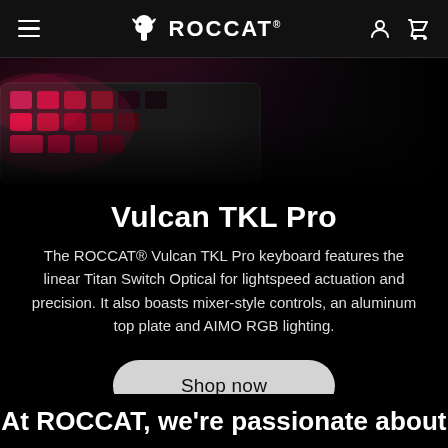ROCCAT navigation bar with hamburger menu, ROCCAT logo, user icon and cart icon
[Figure (photo): Close-up photo of ROCCAT Vulcan TKL Pro keyboard with pink/red RGB lighting on dark background]
Vulcan TKL Pro
The ROCCAT® Vulcan TKL Pro keyboard features the linear Titan Switch Optical for lightspeed actuation and precision. It also boasts mixer-style controls, an aluminum top plate and AIMO RGB lighting.
Shop now
At ROCCAT, we're passionate about